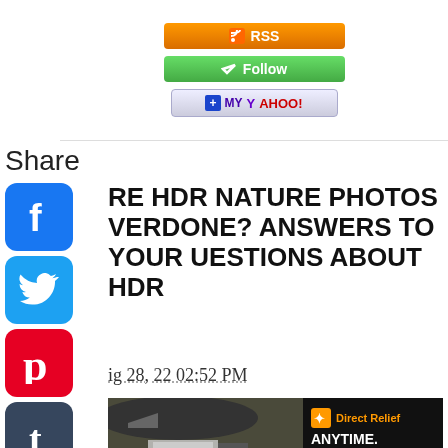[Figure (screenshot): RSS button - orange gradient with RSS feed icon]
[Figure (screenshot): Follow button - green gradient with checkmark icon]
[Figure (screenshot): Add to My Yahoo button - light blue/purple with plus icon]
Share
RE HDR NATURE PHOTOS VERDONE? ANSWERS TO YOUR UESTIONS ABOUT HDR
ig 28, 22 02:52 PM
[Figure (photo): Advertisement banner for Direct Relief charity showing helicopter and cargo with text ANYTIME. ANYWHERE. ANYONE IN NEED.]
[Figure (screenshot): Social sharing sidebar with Facebook, Twitter, Pinterest, Tumblr, Reddit, WhatsApp, and Messenger icons]
Ad Child get to learn good habits, safety tips, colors, numbers, good manners, healthy habits
Wolfoo LLC
Open